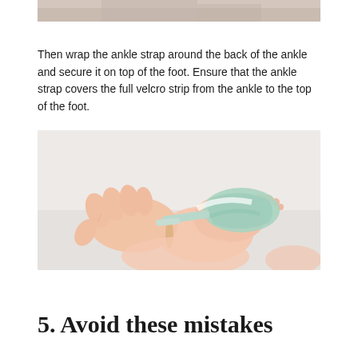[Figure (photo): Partial top of a photo showing a foot/shoe, cropped at top of page]
Then wrap the ankle strap around the back of the ankle and secure it on top of the foot. Ensure that the ankle strap covers the full velcro strip from the ankle to the top of the foot.
[Figure (photo): Hands wrapping a green/mint ankle strap around a baby's foot, showing the velcro strap being secured on top of the foot]
5. Avoid these mistakes